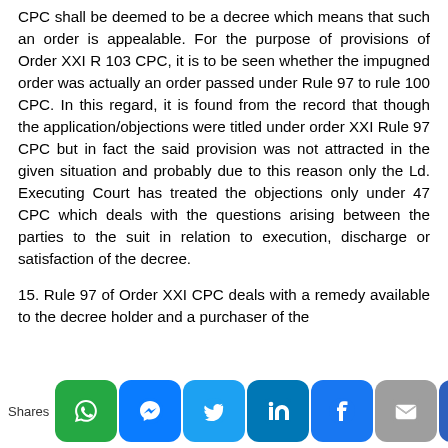CPC shall be deemed to be a decree which means that such an order is appealable. For the purpose of provisions of Order XXI R 103 CPC, it is to be seen whether the impugned order was actually an order passed under Rule 97 to rule 100 CPC. In this regard, it is found from the record that though the application/objections were titled under order XXI Rule 97 CPC but in fact the said provision was not attracted in the given situation and probably due to this reason only the Ld. Executing Court has treated the objections only under 47 CPC which deals with the questions arising between the parties to the suit in relation to execution, discharge or satisfaction of the decree.
15. Rule 97 of Order XXI CPC deals with a remedy available to the decree holder and a purchaser of the
[Figure (infographic): Social media share bar with icons: WhatsApp (green), Messenger (blue), Twitter (light blue), LinkedIn (dark blue), Facebook (blue), Email (grey), Crown/other (dark blue). Label 'Shares' on the left.]